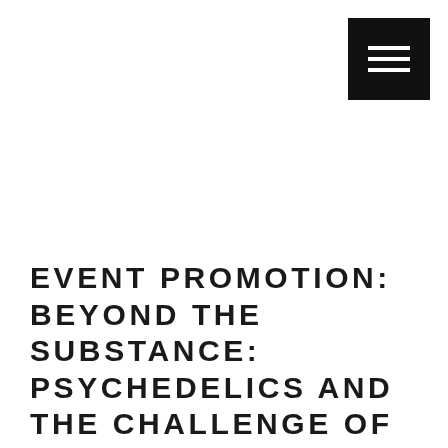[Figure (other): Hamburger menu icon button — three horizontal white lines on black square background, positioned top-right corner]
EVENT PROMOTION: BEYOND THE SUBSTANCE: PSYCHEDELICS AND THE CHALLENGE OF MEDICAL RESEARCH AND DRUG POLICY
Posted on December 20, 2021 in Event promotion, New Events